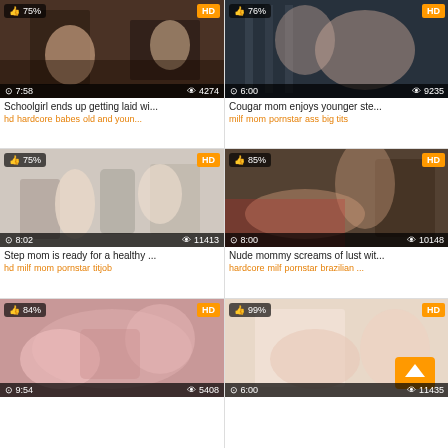[Figure (screenshot): Video thumbnail - office scene, 75% like, HD, 7:58 duration, 4274 views]
Schoolgirl ends up getting laid wi...
hd hardcore babes old and youn...
[Figure (screenshot): Video thumbnail - shower scene, 76% like, HD, 6:00 duration, 9235 views]
Cougar mom enjoys younger ste...
milf mom pornstar ass big tits
[Figure (screenshot): Video thumbnail - indoor scene, 75% like, HD, 8:02 duration, 11413 views]
Step mom is ready for a healthy ...
hd milf mom pornstar titjob
[Figure (screenshot): Video thumbnail - living room scene, 85% like, HD, 8:00 duration, 10148 views]
Nude mommy screams of lust wit...
hardcore milf pornstar brazilian ...
[Figure (screenshot): Video thumbnail - 84% like, HD, 9:54 duration, 5408 views]
[Figure (screenshot): Video thumbnail - bedroom scene, 99% like, HD, 6:00 duration, 11435 views]